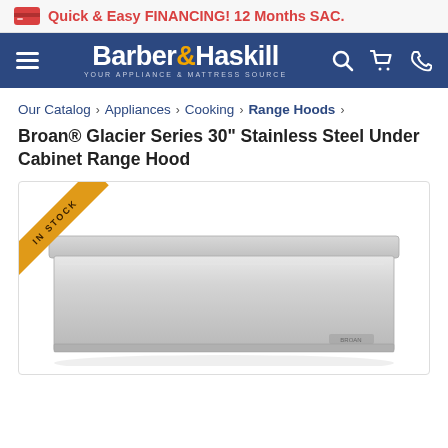Quick & Easy FINANCING! 12 Months SAC.
[Figure (logo): Barber & Haskill logo with navigation icons (hamburger menu, search, cart, phone) on dark blue background]
Our Catalog › Appliances › Cooking › Range Hoods ›
Broan® Glacier Series 30" Stainless Steel Under Cabinet Range Hood
[Figure (photo): Product photo of a stainless steel under cabinet range hood with an IN STOCK ribbon badge in the top-left corner]